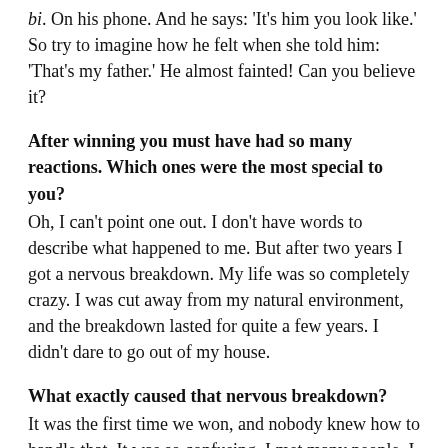bi. On his phone. And he says: 'It's him you look like.' So try to imagine how he felt when she told him: 'That's my father.' He almost fainted! Can you believe it?
After winning you must have had so many reactions. Which ones were the most special to you? Oh, I can't point one out. I don't have words to describe what happened to me. But after two years I got a nervous breakdown. My life was so completely crazy. I was cut away from my natural environment, and the breakdown lasted for quite a few years. I didn't dare to go out of my house.
What exactly caused that nervous breakdown? It was the first time we won, and nobody knew how to handle that. It was so confusing. I met many people, I was always on the road. And suddenly I felt that in three minutes everything I leaned on in life was taken away from me. Still I kept going on. It was a process, but after a while I just couldn't anymore. I started to